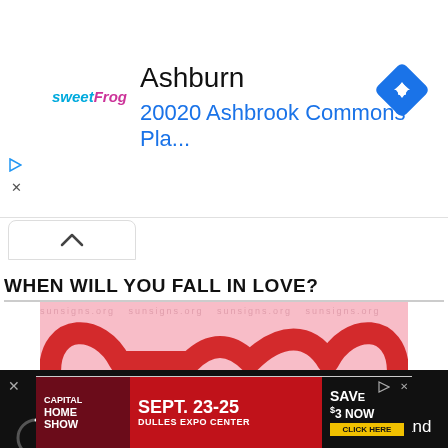[Figure (screenshot): Ad banner: sweetFrog logo on left, 'Ashburn' in large black text, '20020 Ashbrook Commons Pla...' in blue text, blue diamond navigation icon on right. Play and close icons on far left.]
[Figure (screenshot): Up-arrow chevron button in a rounded rectangle tab, white background]
WHEN WILL YOU FALL IN LOVE?
[Figure (photo): Pink background with red heart shapes painted in brush strokes. Watermark text 'sunsigns.org sunsigns.org sunsigns.org' across the top. '-ADVERTISEMENT-' label overlaid on lower left portion. Bottom portion shows ribbon hearts and small red hearts scattered.]
[Figure (screenshot): Black video player bar: circular spinner/loading icon on left, text 'How To Open 7 Chakras - Meditation and Healing - SunSigns.Org' in white, small gold dot decorative element. Close X button on far left edge.]
[Figure (screenshot): Advertisement banner: 'CAPITAL HOME SHOW' on dark red/maroon left panel, 'SEPT. 23-25 DULLES EXPO CENTER' in center on red background, 'SAVE $3 NOW CLICK HERE' on yellow/black right panel. Play and close icons visible.]